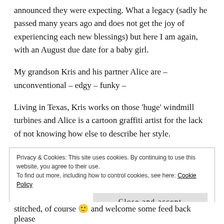announced they were expecting. What a legacy (sadly he passed many years ago and does not get the joy of experiencing each new blessings) but here I am again, with an August due date for a baby girl.
My grandson Kris and his partner Alice are – unconventional – edgy – funky –
Living in Texas, Kris works on those 'huge' windmill turbines and Alice is a cartoon graffiti artist for the lack of not knowing how else to describe her style.
Privacy & Cookies: This site uses cookies. By continuing to use this website, you agree to their use.
To find out more, including how to control cookies, see here: Cookie Policy
Close and accept
stitched, of course 🙂 and welcome some feed back please